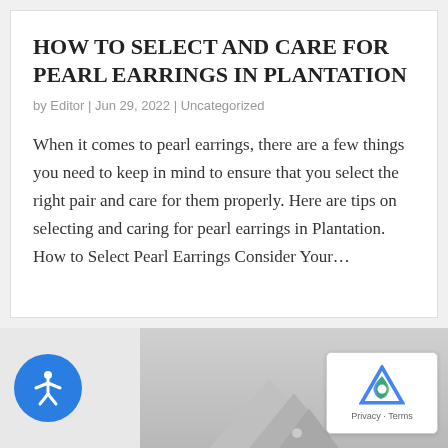HOW TO SELECT AND CARE FOR PEARL EARRINGS IN PLANTATION
by Editor | Jun 29, 2022 | Uncategorized
When it comes to pearl earrings, there are a few things you need to keep in mind to ensure that you select the right pair and care for them properly. Here are tips on selecting and caring for pearl earrings in Plantation. How to Select Pearl Earrings Consider Your…
[Figure (photo): Bottom section showing a mountain/landscape image with an accessibility icon button on the left and a reCAPTCHA Privacy/Terms box on the right]